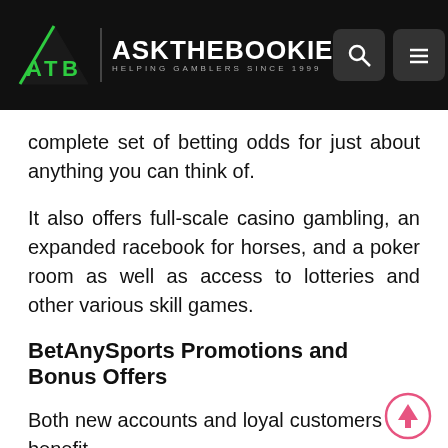[Figure (logo): AskTheBookie logo with ATB letters in green triangle and white text, HELPING GAMBLERS SINCE 1999 subtitle, search and menu icons on dark header bar]
complete set of betting odds for just about anything you can think of.
It also offers full-scale casino gambling, an expanded racebook for horses, and a poker room as well as access to lotteries and other various skill games.
BetAnySports Promotions and Bonus Offers
Both new accounts and loyal customers can benefit